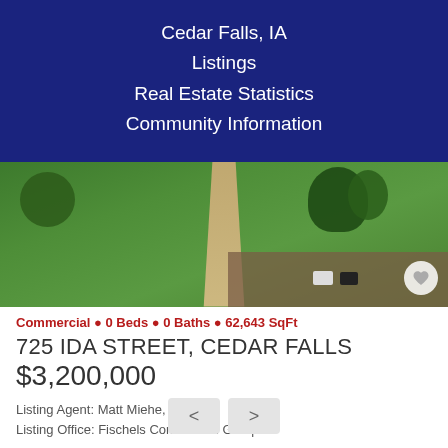Cedar Falls, IA
Listings
Real Estate Statistics
Community Information
[Figure (photo): Aerial drone photo of a property showing green lawn, a gravel driveway, trees, and a parking area with vehicles]
Commercial • 0 Beds • 0 Baths • 62,643 SqFt
725 IDA STREET, CEDAR FALLS
$3,200,000
Listing Agent: Matt Miehe, Ccim
Listing Office: Fischels Commercial Group